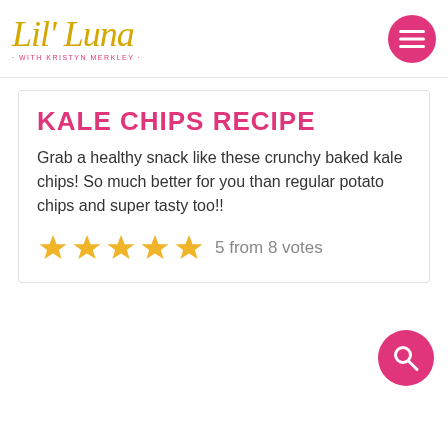[Figure (logo): Lil' Luna script logo in gold/yellow with subtitle 'WITH KRISTYN MERKLEY' in pink, and a pink circular menu button with hamburger icon on the right]
KALE CHIPS RECIPE
Grab a healthy snack like these crunchy baked kale chips! So much better for you than regular potato chips and super tasty too!!
5 from 8 votes
[Figure (illustration): Pink circular search button with magnifying glass icon in bottom right area]